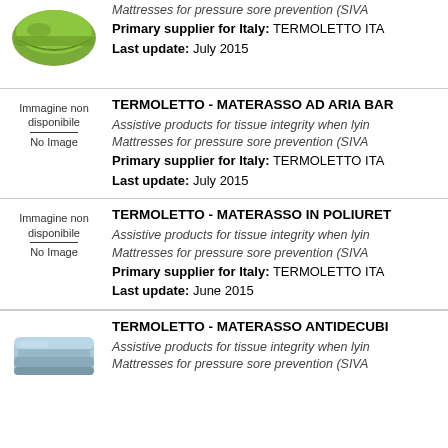[Figure (photo): Green mattress product image (partially visible at top)]
Mattresses for pressure sore prevention (SIVA...
Primary supplier for Italy: TERMOLETTO ITA...
Last update: July 2015
TERMOLETTO - MATERASSO AD ARIA BAR...
Assistive products for tissue integrity when lyin...
Mattresses for pressure sore prevention (SIVA...
Primary supplier for Italy: TERMOLETTO ITA...
Last update: July 2015
[Figure (illustration): No image placeholder - Immagine non disponibile / No Image]
TERMOLETTO - MATERASSO IN POLIURET...
Assistive products for tissue integrity when lyin...
Mattresses for pressure sore prevention (SIVA...
Primary supplier for Italy: TERMOLETTO ITA...
Last update: June 2015
[Figure (illustration): No image placeholder - Immagine non disponibile / No Image]
TERMOLETTO - MATERASSO ANTIDECUBI...
Assistive products for tissue integrity when lyin...
Mattresses for pressure sore prevention (SIVA...
[Figure (photo): Light blue mattress product image (partially visible at bottom)]